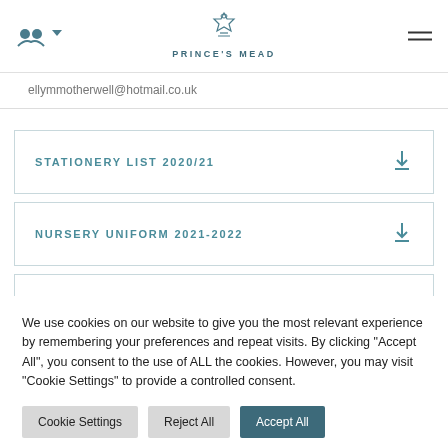PRINCE'S MEAD
ellymmotherwell@hotmail.co.uk
STATIONERY LIST 2020/21
NURSERY UNIFORM 2021-2022
We use cookies on our website to give you the most relevant experience by remembering your preferences and repeat visits. By clicking "Accept All", you consent to the use of ALL the cookies. However, you may visit "Cookie Settings" to provide a controlled consent.